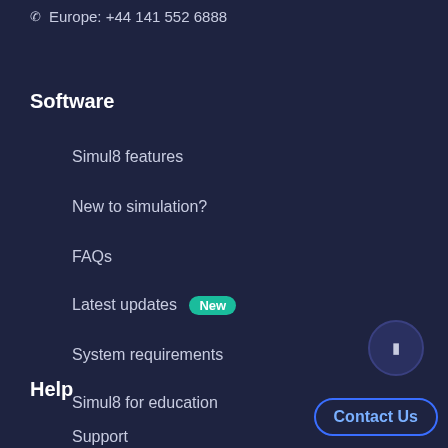Europe: +44 141 552 6888
Software
Simul8 features
New to simulation?
FAQs
Latest updates  New
System requirements
Simul8 for education
Help
Support
Contact Us